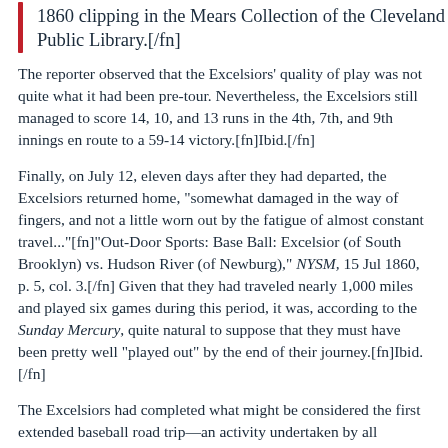1860 clipping in the Mears Collection of the Cleveland Public Library.[/fn]
The reporter observed that the Excelsiors' quality of play was not quite what it had been pre-tour. Nevertheless, the Excelsiors still managed to score 14, 10, and 13 runs in the 4th, 7th, and 9th innings en route to a 59-14 victory.[fn]Ibid.[/fn]
Finally, on July 12, eleven days after they had departed, the Excelsiors returned home, "somewhat damaged in the way of fingers, and not a little worn out by the fatigue of almost constant travel..."[fn]"Out-Door Sports: Base Ball: Excelsior (of South Brooklyn) vs. Hudson River (of Newburg)," NYSM, 15 Jul 1860, p. 5, col. 3.[/fn] Given that they had traveled nearly 1,000 miles and played six games during this period, it was, according to the Sunday Mercury, quite natural to suppose that they must have been pretty well "played out" by the end of their journey.[fn]Ibid.[/fn]
The Excelsiors had completed what might be considered the first extended baseball road trip—an activity undertaken by all professional clubs since the